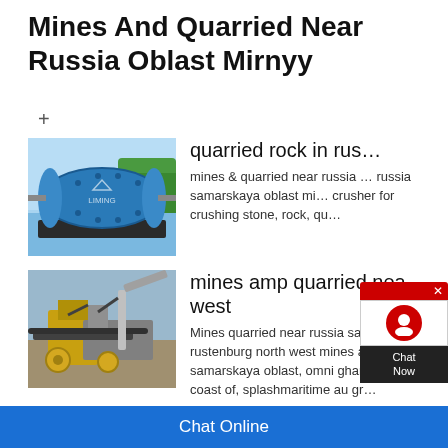Mines And Quarried Near Russia Oblast Mirnyy
+
quarried rock in rus…
[Figure (photo): Blue cylindrical ball mill machine (Liming brand) on a factory floor with trees in background]
mines & quarried near russia … russia samarskaya oblast mi… crusher for crushing stone, rock, qu…
mines amp quarried nea… west
[Figure (photo): Yellow and grey mining/quarrying equipment machinery outdoors]
Mines quarried near russia samarsk… near rustenburg north west mines a… samarskaya oblast, omni ghana bas… west coast of, splashmaritime au gr…
Chat Online